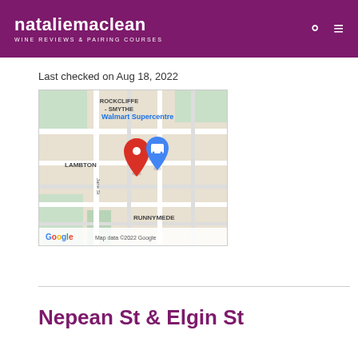natalie maclean WINE REVIEWS & PAIRING COURSES
Last checked on Aug 18, 2022
[Figure (map): Google map showing Walmart Supercentre location at Lambton/Runnymede area, with red pin marker and blue shopping icon. Neighborhoods labeled: Rockcliffe - Smythe, Lambton, Runnymede. Street: Jane St. Map data ©2022 Google.]
Nepean St & Elgin St